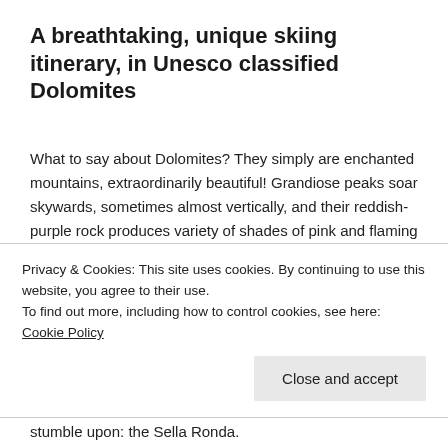A breathtaking, unique skiing itinerary, in Unesco classified Dolomites
What to say about Dolomites? They simply are enchanted mountains, extraordinarily beautiful! Grandiose peaks soar skywards, sometimes almost vertically, and their reddish-purple rock produces variety of shades of pink and flaming red, especially at first light and dusk.
Those of you who follow this blog (thanks!) already know
Privacy & Cookies: This site uses cookies. By continuing to use this website, you agree to their use.
To find out more, including how to control cookies, see here: Cookie Policy
stumble upon: the Sella Ronda.